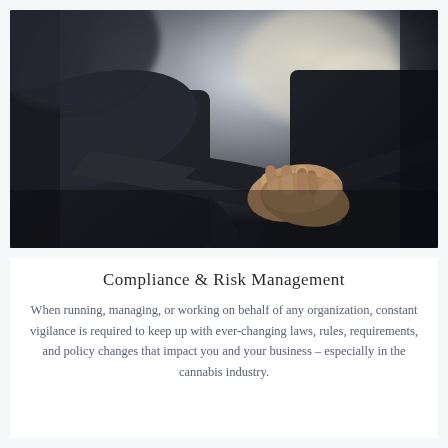[Figure (photo): Two people in business attire shaking hands, close-up photograph with blurred background, professional setting]
Compliance & Risk Management
When running, managing, or working on behalf of any organization, constant vigilance is required to keep up with ever-changing laws, rules, requirements, and policy changes that impact you and your business – especially in the cannabis industry.